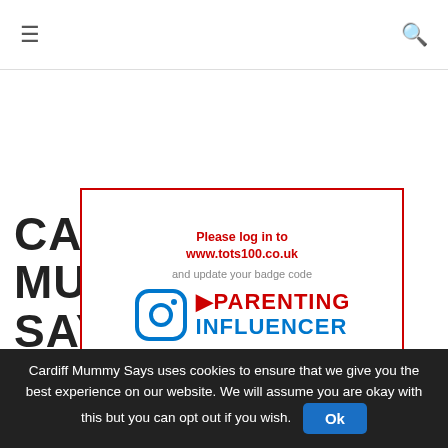Cardiff Mummy Says — navigation bar with hamburger menu and search icon
CARDIFF MUMMY SAYS
[Figure (logo): Badge overlay with red border showing 'Please log in to www.tots100.co.uk and update your badge code' with an Instagram icon and text PARENTING INFLUENCER in red and blue]
Cardiff Mummy Says is proud to be a blogger ambassador for
[Figure (logo): The Red Dragon Centre logo alongside Home of 97.4/103.2 Capital FM logo]
Cardiff Mummy Says uses cookies to ensure that we give you the best experience on our website. We will assume you are okay with this but you can opt out if you wish.